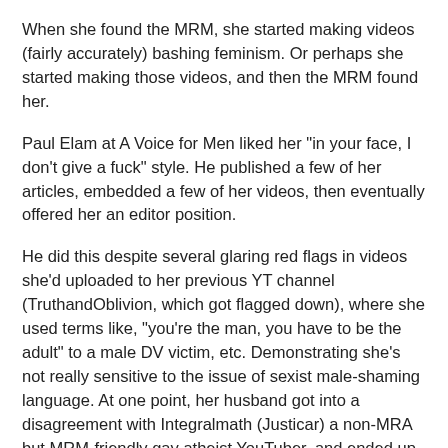When she found the MRM, she started making videos (fairly accurately) bashing feminism. Or perhaps she started making those videos, and then the MRM found her.
Paul Elam at A Voice for Men liked her "in your face, I don't give a fuck" style. He published a few of her articles, embedded a few of her videos, then eventually offered her an editor position.
He did this despite several glaring red flags in videos she'd uploaded to her previous YT channel (TruthandOblivion, which got flagged down), where she used terms like, "you're the man, you have to be the adult" to a male DV victim, etc. Demonstrating she's not really sensitive to the issue of sexist male-shaming language. At one point, her husband got into a disagreement with Integralmath (Justicar) a non-MRA but MRM-friendly gay atheist YouTuber, and ended up calling him a "disgusting fudgepacker" or something of the sort. A lot of things that should have filled most of us with misgivings.
Apparently Paul wasn't aware of the red flags (he doesn't